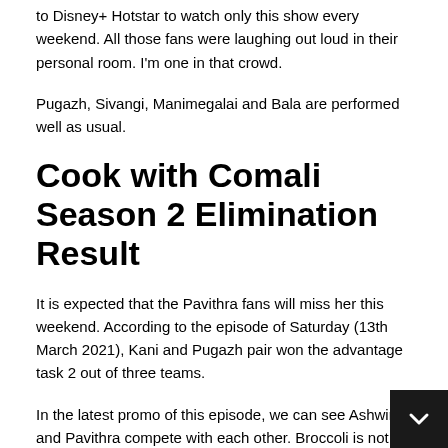to Disney+ Hotstar to watch only this show every weekend. All those fans were laughing out loud in their personal room. I'm one in that crowd.
Pugazh, Sivangi, Manimegalai and Bala are performed well as usual.
Cook with Comali Season 2 Elimination Result
It is expected that the Pavithra fans will miss her this weekend. According to the episode of Saturday (13th March 2021), Kani and Pugazh pair won the advantage task 2 out of three teams.
In the latest promo of this episode, we can see Ashwin and Pavithra compete with each other. Broccoli is not the favorite one of Pavithra, so the fans are predicted that she will be